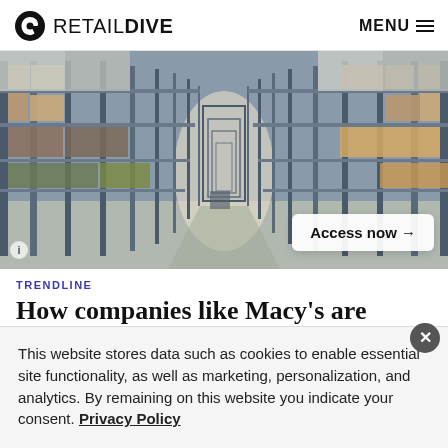RETAIL DIVE  MENU
[Figure (photo): Wide-angle view of a warehouse interior with tall metal shelving racks filled with boxes and palletized goods, with an aisle receding toward a bright background. An 'Access now →' button overlay is visible in the lower right.]
TRENDLINE
How companies like Macy's are
This website stores data such as cookies to enable essential site functionality, as well as marketing, personalization, and analytics. By remaining on this website you indicate your consent. Privacy Policy